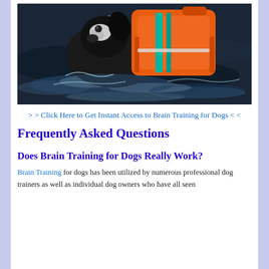[Figure (photo): A black and white dog wearing an orange life jacket swimming in dark water, photographed from above and close up.]
> > Click Here to Get Instant Access to Brain Training for Dogs < <
Frequently Asked Questions
Does Brain Training for Dogs Really Work?
Brain Training for dogs has been utilized by numerous professional dog trainers as well as individual dog owners who have all seen